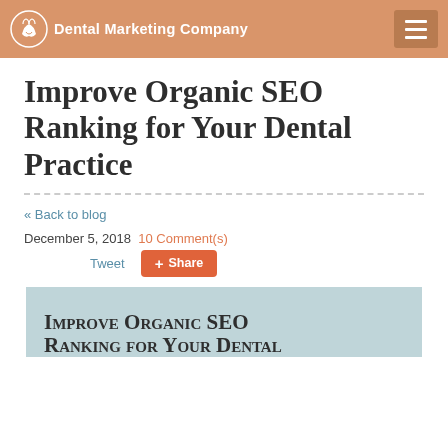Dental Marketing Company
Improve Organic SEO Ranking for Your Dental Practice
« Back to blog
December 5, 2018  10 Comment(s)
Tweet   Share
[Figure (screenshot): Article header image with text 'Improve Organic SEO Ranking for Your Dental Practice' in small-caps on a light blue-gray background]